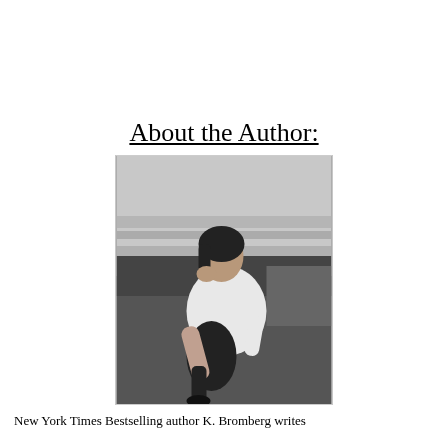About the Author:
[Figure (photo): Black and white photograph of a woman seated on a dark leather sofa, wearing a white blouse and dark pants with strappy heels, resting her head on one hand in a contemplative pose.]
New York Times Bestselling author K. Bromberg writes